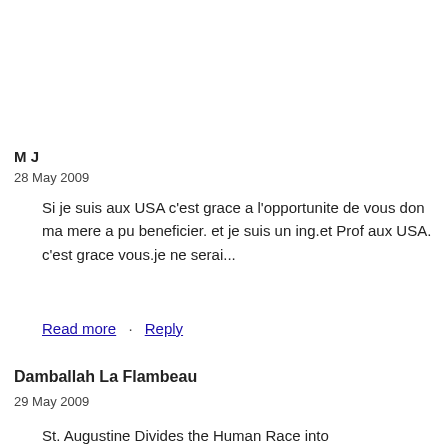M J
28 May 2009
Si je suis aux USA c'est grace a l'opportunite de vous don ma mere a pu beneficier. et je suis un ing.et Prof aux USA. c'est grace vous.je ne serai...
Read more · Reply
Damballah La Flambeau
29 May 2009
St. Augustine Divides the Human Race into